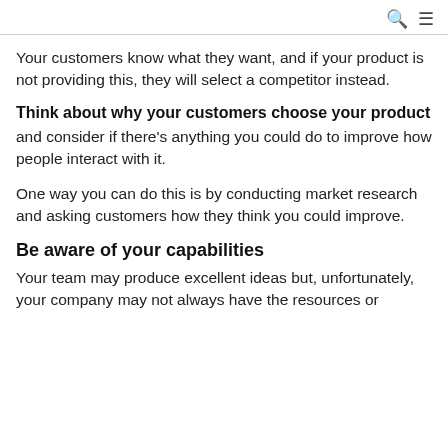🔍 ☰
Your customers know what they want, and if your product is not providing this, they will select a competitor instead.
Think about why your customers choose your product
and consider if there's anything you could do to improve how people interact with it.
One way you can do this is by conducting market research and asking customers how they think you could improve.
Be aware of your capabilities
Your team may produce excellent ideas but, unfortunately, your company may not always have the resources or